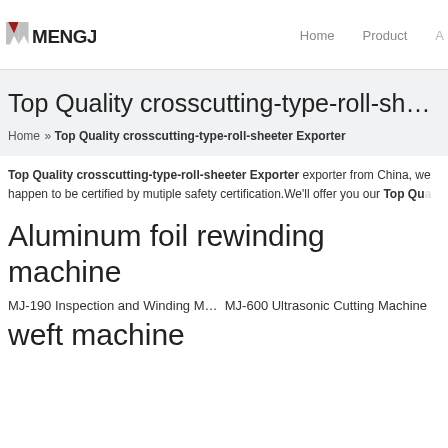MENGJI | Home | Product | A...
Top Quality crosscutting-type-roll-sheeter E...
Home » Top Quality crosscutting-type-roll-sheeter Exporter
Top Quality crosscutting-type-roll-sheeter Exporter exporter from China, we happen to be certified by mutiple safety certification.We'll offer you our Top Qua...
Aluminum foil rewinding machine
MJ-190 Inspection and Winding M…  MJ-600 Ultrasonic Cutting Machine
weft machine